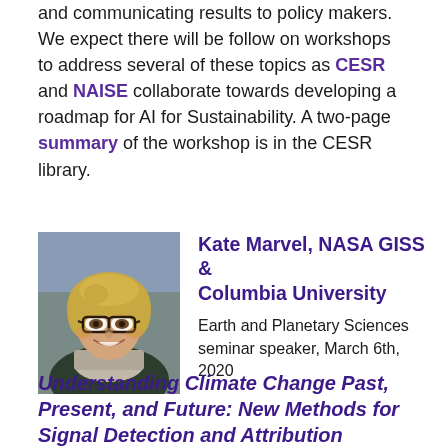and communicating results to policy makers. We expect there will be follow on workshops to address several of these topics as CESR and NAISE collaborate towards developing a roadmap for AI for Sustainability. A two-page summary of the workshop is in the CESR library.
[Figure (photo): Headshot photo of Kate Marvel, a woman with blonde hair and dark-framed glasses, smiling outdoors]
Kate Marvel, NASA GISS & Columbia University
Earth and Planetary Sciences seminar speaker, March 6th, 2020
Understanding Climate Change Past, Present, and Future: New Methods for Signal Detection and Attribution